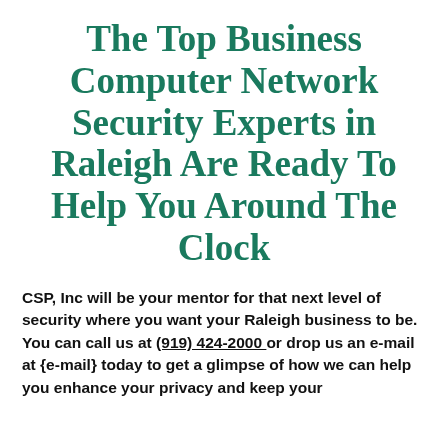The Top Business Computer Network Security Experts in Raleigh Are Ready To Help You Around The Clock
CSP, Inc will be your mentor for that next level of security where you want your Raleigh business to be. You can call us at (919) 424-2000 or drop us an e-mail at {e-mail} today to get a glimpse of how we can help you enhance your privacy and keep your